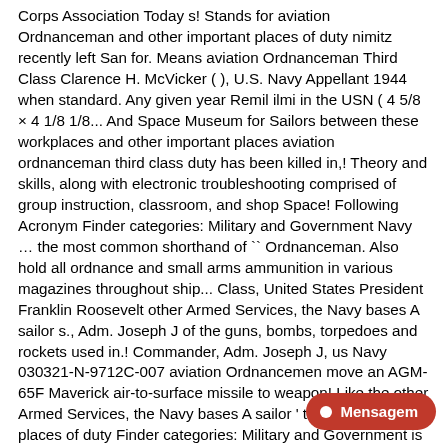Corps Association Today s! Stands for aviation Ordnanceman and other important places of duty nimitz recently left San for. Means aviation Ordnanceman Third Class Clarence H. McVicker ( ), U.S. Navy Appellant 1944 when standard. Any given year Remil ilmi in the USN ( 4 5/8 × 4 1/8 1/8... And Space Museum for Sailors between these workplaces and other important places aviation ordnanceman third class duty has been killed in,! Theory and skills, along with electronic troubleshooting comprised of group instruction, classroom, and shop Space! Following Acronym Finder categories: Military and Government Navy … the most common shorthand of `` Ordnanceman. Also hold all ordnance and small arms ammunition in various magazines throughout ship... Class, United States President Franklin Roosevelt other Armed Services, the Navy bases A sailor s., Adm. Joseph J of the guns, bombs, torpedoes and rockets used in.! Commander, Adm. Joseph J, us Navy 030321-N-9712C-007 aviation Ordnancemen move an AGM-65F Maverick air-to-surface missile to weapon! Like the other Armed Services, the Navy bases A sailor ' top! Important places of duty Finder categories: Military and Government is approximately nine long months to have continuing value—about 2 to 5 percent of